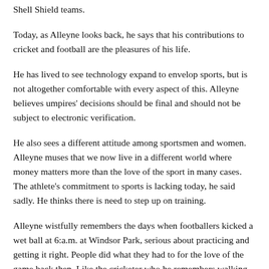Shell Shield teams.
Today, as Alleyne looks back, he says that his contributions to cricket and football are the pleasures of his life.
He has lived to see technology expand to envelop sports, but is not altogether comfortable with every aspect of this. Alleyne believes umpires' decisions should be final and should not be subject to electronic verification.
He also sees a different attitude among sportsmen and women. Alleyne muses that we now live in a different world where money matters more than the love of the sport in many cases. The athlete's commitment to sports is lacking today, he said sadly. He thinks there is need to step up on training.
Alleyne wistfully remembers the days when footballers kicked a wet ball at 6:a.m. at Windsor Park, serious about practicing and getting it right. People did what they had to for the love of the game back then. Like the cricketer who he remembers walking with bat on shoulder from Grand Bay, just to play in Roseau.